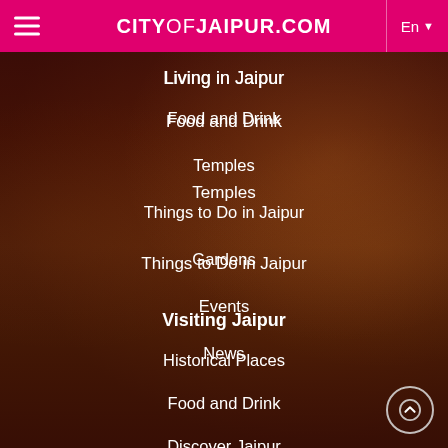CITYOFJAIPUR.COM
[Figure (photo): Dark atmospheric photo of Jaipur palace/temple architecture at night with illuminated domes and arches, overlaid with semi-transparent dark reddish tint]
Living in Jaipur
Food and Drink
Temples
Things to Do in Jaipur
Gardens
Events
News
Visiting Jaipur
Historical Places
Food and Drink
Discover Jaipur